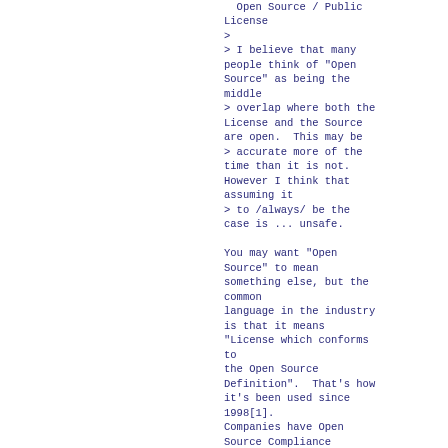Open Source / Public License
>
> I believe that many people think of "Open Source" as being the middle
> overlap where both the License and the Source are open.  This may be
> accurate more of the time than it is not. However I think that assuming it
> to /always/ be the case is ... unsafe.

You may want "Open Source" to mean something else, but the common language in the industry is that it means "License which conforms to the Open Source Definition".  That's how it's been used since 1998[1]. Companies have Open Source Compliance